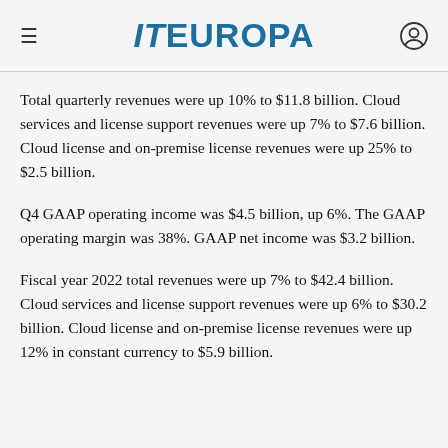IT EUROPA
Total quarterly revenues were up 10% to $11.8 billion. Cloud services and license support revenues were up 7% to $7.6 billion. Cloud license and on-premise license revenues were up 25% to $2.5 billion.
Q4 GAAP operating income was $4.5 billion, up 6%. The GAAP operating margin was 38%. GAAP net income was $3.2 billion.
Fiscal year 2022 total revenues were up 7% to $42.4 billion. Cloud services and license support revenues were up 6% to $30.2 billion. Cloud license and on-premise license revenues were up 12% in constant currency to $5.9 billion.